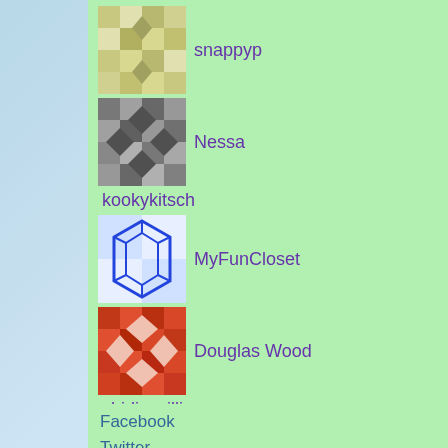snappyp
Nessa
kookykitsch
MyFunCloset
Douglas Wood
shirlie williams
Markydoodle
windupkitty
Michael Ely
See All aKitschionados
Facebook
Twitter